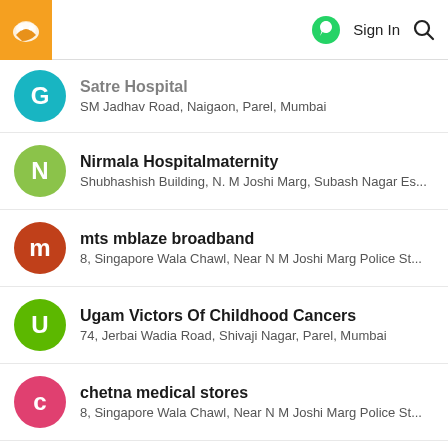Sign In
Satre Hospital
SM Jadhav Road, Naigaon, Parel, Mumbai
Nirmala Hospitalmaternity
Shubhashish Building, N. M Joshi Marg, Subash Nagar Es...
mts mblaze broadband
8, Singapore Wala Chawl, Near N M Joshi Marg Police St...
Ugam Victors Of Childhood Cancers
74, Jerbai Wadia Road, Shivaji Nagar, Parel, Mumbai
chetna medical stores
8, Singapore Wala Chawl, Near N M Joshi Marg Police St...
Shivri Nursing Home
Sewri Cross Road, Gandhi Nagar, Sewri, Mumbai